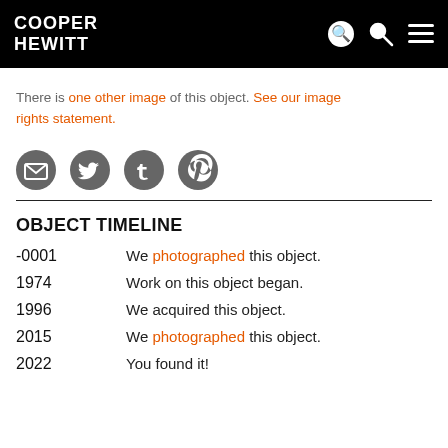COOPER HEWITT
There is one other image of this object. See our image rights statement.
[Figure (other): Social sharing icons: email, Twitter, Tumblr, Pinterest]
OBJECT TIMELINE
| Year | Event |
| --- | --- |
| -0001 | We photographed this object. |
| 1974 | Work on this object began. |
| 1996 | We acquired this object. |
| 2015 | We photographed this object. |
| 2022 | You found it! |